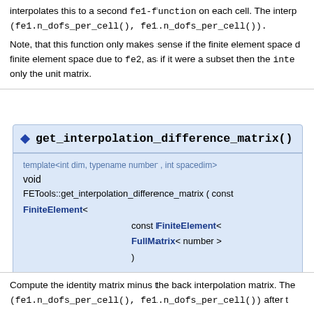interpolates this to a second fe1-function on each cell. The interp (fe1.n_dofs_per_cell(), fe1.n_dofs_per_cell()).
Note, that this function only makes sense if the finite element space due to fe2, as if it were a subset then the inte only the unit matrix.
get_interpolation_difference_matrix()
template<int dim, typename number , int spacedim>
void
FETools::get_interpolation_difference_matrix ( const FiniteElement<
    const FiniteElement<
    FullMatrix< number >
)
Compute the identity matrix minus the back interpolation matrix. The (fe1.n_dofs_per_cell(), fe1.n_dofs_per_cell()) after t